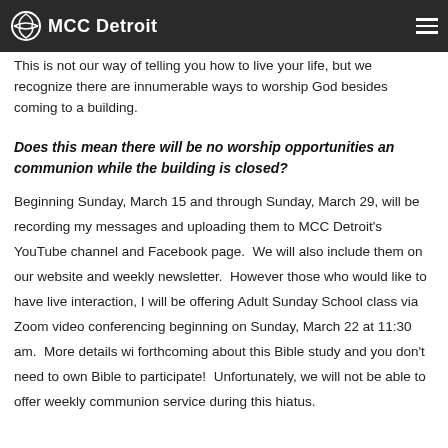MCC Detroit
This is not our way of telling you how to live your life, but we recognize there are innumerable ways to worship God besides coming to a building.
Does this mean there will be no worship opportunities and communion while the building is closed?
Beginning Sunday, March 15 and through Sunday, March 29, will be recording my messages and uploading them to MCC Detroit's YouTube channel and Facebook page. We will also include them on our website and weekly newsletter. However those who would like to have live interaction, I will be offering Adult Sunday School class via Zoom video conferencing beginning on Sunday, March 22 at 11:30 am. More details wi forthcoming about this Bible study and you don't need to own Bible to participate! Unfortunately, we will not be able to offer weekly communion service during this hiatus.